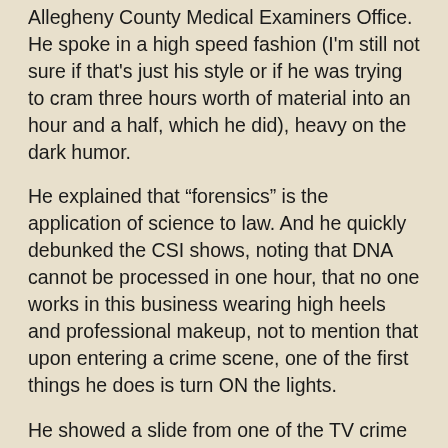Allegheny County Medical Examiners Office. He spoke in a high speed fashion (I'm still not sure if that's just his style or if he was trying to cram three hours worth of material into an hour and a half, which he did), heavy on the dark humor.
He explained that “forensics” is the application of science to law. And he quickly debunked the CSI shows, noting that DNA cannot be processed in one hour, that no one works in this business wearing high heels and professional makeup, not to mention that upon entering a crime scene, one of the first things he does is turn ON the lights.
He showed a slide from one of the TV crime dramas showing those familiar cubbies, one of which was open and a body was on the pull-out slab. Silhouettes of corpses' feet could be seen through the translucent glass doors of the other cubbies. He asked what was wrong with this picture. A few suggestions were offered from the crowd. I raised my hand and questioned why there were lights on inside the coolers. This has always bugged me. Dr. Strimlan agreed and pondered if the bodies were reading in there. But the big “what’s wrong with this picture” was actually the individual